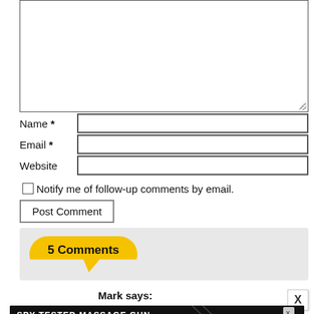[Figure (screenshot): Web form textarea (comment input box) with resize handle]
Name *
Email *
Website
Notify me of follow-up comments by email.
Post Comment
5 Comments
Mark says:
[Figure (screenshot): Advertisement banner: SPY-TESTED MASSAGE GUN NOW JUST $79 with SPY logo]